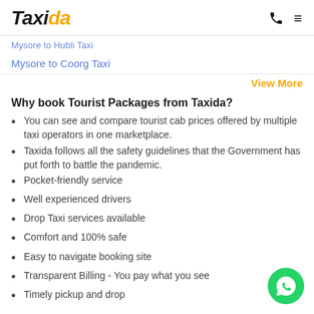Taxida
Mysore to Hubli Taxi
Mysore to Coorg Taxi
View More
Why book Tourist Packages from Taxida?
You can see and compare tourist cab prices offered by multiple taxi operators in one marketplace.
Taxida follows all the safety guidelines that the Government has put forth to battle the pandemic.
Pocket-friendly service
Well experienced drivers
Drop Taxi services available
Comfort and 100% safe
Easy to navigate booking site
Transparent Billing - You pay what you see
Timely pickup and drop